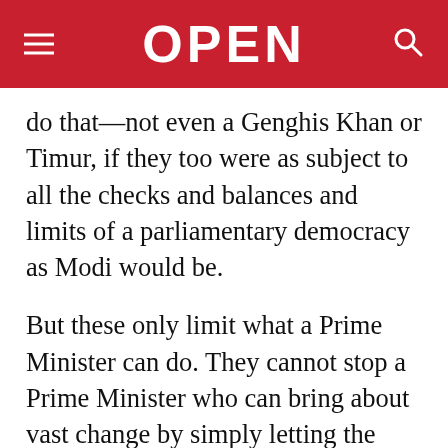OPEN
do that—not even a Genghis Khan or Timur, if they too were as subject to all the checks and balances and limits of a parliamentary democracy as Modi would be.
But these only limit what a Prime Minister can do. They cannot stop a Prime Minister who can bring about vast change by simply letting the Balance of Power do its work. In essence, China has greatly overplayed its hand because of India's passivity; a passivity more obvious in light of Japan's first dynamic leader in decades, Prime Minister Shinzo Abe. If Modi does respond positively to Abe's offer...